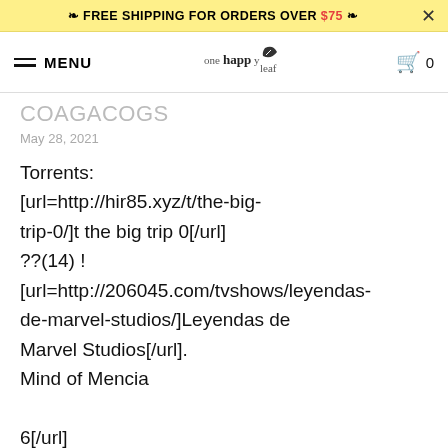FREE SHIPPING FOR ORDERS OVER $75 ×
MENU  onehappyleaf  0
COAGACOGS
May 28, 2021
Torrents:
[url=http://hir85.xyz/t/the-big-trip-0/]t the big trip 0[/url] ??(14) ! [url=http://206045.com/tvshows/leyendas-de-marvel-studios/]Leyendas de Marvel Studios[/url].
Mind of Mencia

6[/url]

Sting – 57TH amp; 9TH (2016) LP –